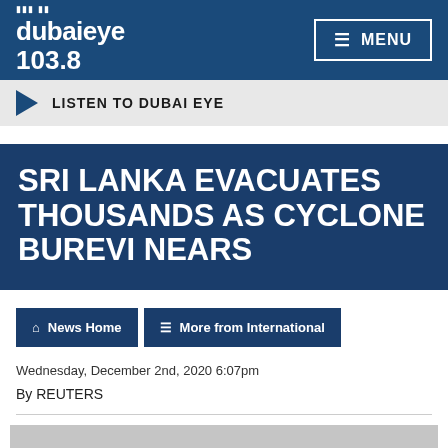dubai eye 103.8 | MENU
LISTEN TO DUBAI EYE
SRI LANKA EVACUATES THOUSANDS AS CYCLONE BUREVI NEARS
News Home | More from International
Wednesday, December 2nd, 2020 6:07pm
By REUTERS
[Figure (photo): Gray landscape/weather photo partially visible at bottom of page]